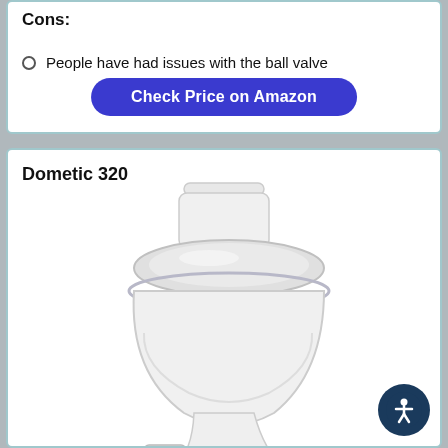Cons:
People have had issues with the ball valve
Check Price on Amazon
Dometic 320
[Figure (photo): White Dometic 320 RV toilet shown from the side, with a round lid, porcelain body, and foot pedal flush mechanism]